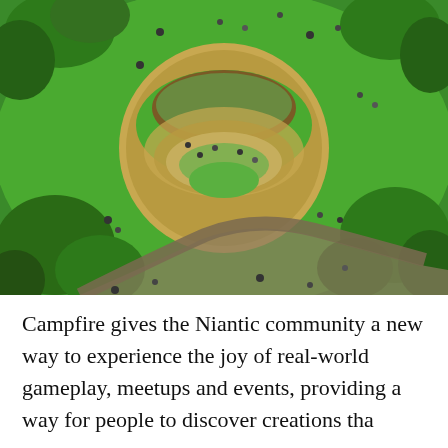[Figure (photo): Aerial view of a park with a circular amphitheater or garden structure surrounded by green grass, trees, and people walking along paths. A winding path curves through the lower portion of the image.]
Campfire gives the Niantic community a new way to experience the joy of real-world gameplay, meetups and events, providing a way for people to discover creations tha...